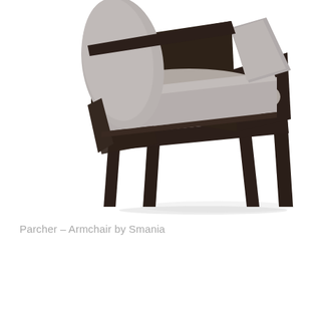[Figure (photo): Close-up product photo of a modern armchair (Parcher by Smania) showing dark wooden frame with tapered legs and light grey upholstered seat and curved back, photographed on white background.]
Parcher – Armchair by Smania